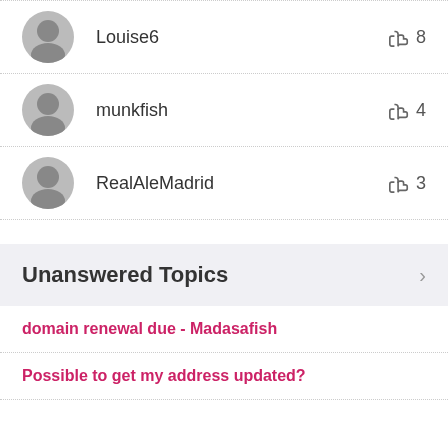Louise6 | 👍 8
munkfish | 👍 4
RealAleMadrid | 👍 3
Unanswered Topics
domain renewal due - Madasafish
Possible to get my address updated?